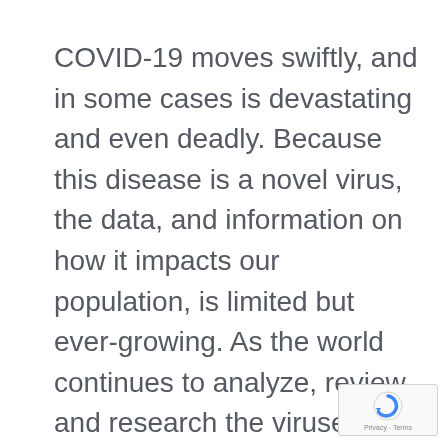COVID-19 moves swiftly, and in some cases is devastating and even deadly. Because this disease is a novel virus, the data, and information on how it impacts our population, is limited but ever-growing. As the world continues to analyze, review, and research the viruses' symptoms and long term impact, we come closer to important answers about the disease. With more cases diagnosed every day, scientific experts, immunologists, and medical professionals worldwide are frantically